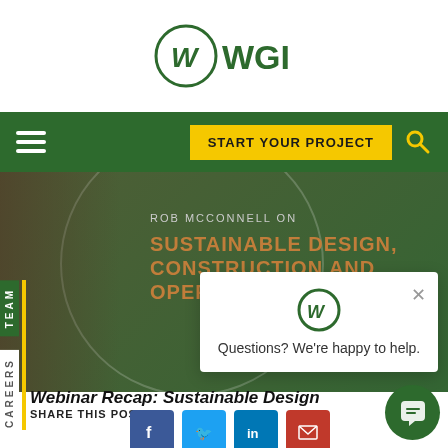[Figure (logo): WGI company logo with W in circle and WGI text]
[Figure (screenshot): Green navigation bar with hamburger menu, START YOUR PROJECT yellow button, and search icon]
[Figure (photo): Hero banner with person's face partially visible on left, green overlay with text ROB MCCONNELL ON SUSTAINABLE DESIGN, CONSTRUCTION AND OPERATION OF]
ROB MCCONNELL ON
SUSTAINABLE DESIGN, CONSTRUCTION AND OPERATION OF
[Figure (screenshot): Chat popup widget showing WGI logo and text: Questions? We're happy to help.]
Webinar Recap: Sustainable Design
SHARE THIS POST
[Figure (infographic): Social share buttons: Facebook, Twitter, LinkedIn, Email]
[Figure (infographic): Green circular chat button in bottom right corner]